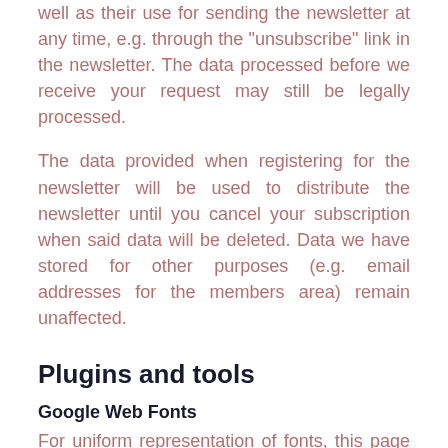well as their use for sending the newsletter at any time, e.g. through the "unsubscribe" link in the newsletter. The data processed before we receive your request may still be legally processed.
The data provided when registering for the newsletter will be used to distribute the newsletter until you cancel your subscription when said data will be deleted. Data we have stored for other purposes (e.g. email addresses for the members area) remain unaffected.
Plugins and tools
Google Web Fonts
For uniform representation of fonts, this page uses web fonts provided by Google. When you open a page, your browser loads the required web fonts into your browser cache to display texts and fonts correctly.